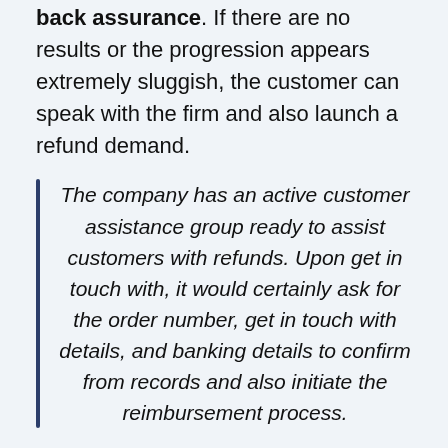back assurance. If there are no results or the progression appears extremely sluggish, the customer can speak with the firm and also launch a refund demand.
The company has an active customer assistance group ready to assist customers with refunds. Upon get in touch with, it would certainly ask for the order number, get in touch with details, and banking details to confirm from records and also initiate the reimbursement process.
The business might ask to return the bottles by sending them to the firm address. Do not throw utilized or new bottles, and also maintain them risk-free in case you are asked to send them back.